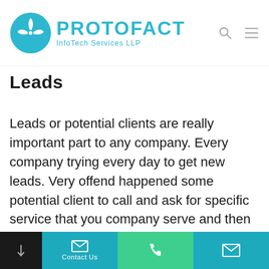Protofact InfoTech Services LLP
Leads
Leads or potential clients are really important part to any company. Every company trying every day to get new leads. Very offend happened some potential client to call and ask for specific service that you company serve and then sometimes this is forgotten. With CRM you will never forget your potential client and you will...
Contact Us | Phone | Mail